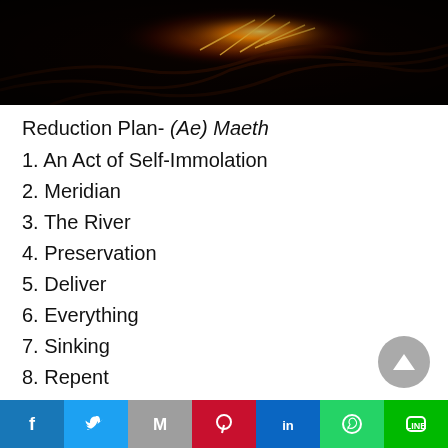[Figure (photo): Dark photograph showing a glowing light bulb filament against a black background, with orange/amber warm tones]
Reduction Plan- (Ae) Maeth
1. An Act of Self-Immolation
2. Meridian
3. The River
4. Preservation
5. Deliver
6. Everything
7. Sinking
8. Repent
Facebook Twitter Gmail Pinterest LinkedIn WhatsApp LINE